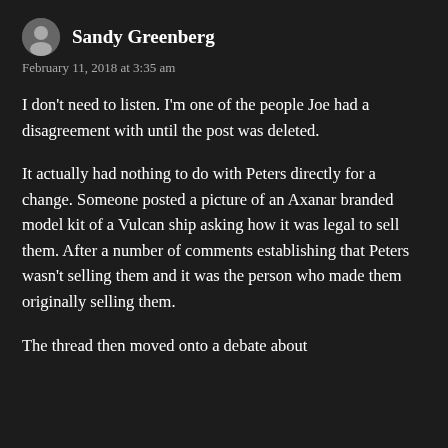Sandy Greenberg
February 11, 2018 at 3:35 am
I don’t need to listen. I’m one of the people Joe had a disagreement with until the post was deleted.
It actually had nothing to do with Peters directly for a change. Someone posted a picture of an Axanar branded model kit of a Vulcan ship asking how it was legal to sell them. After a number of comments establishing that Peters wasn’t selling them and it was the person who made them originally selling them.
The thread then moved onto a debate about